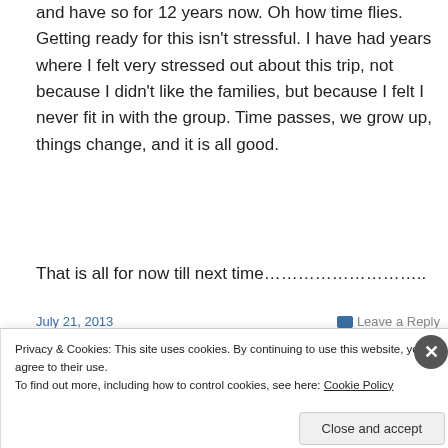and have so for 12 years now.  Oh how time flies.   Getting ready for this isn't stressful.  I have had years where I felt very stressed out about this trip, not because I didn't like the families, but because I felt I never fit in with the group.  Time passes, we grow up, things change, and it is all good.
That is all for now till next time……………………….
July 21, 2013
Leave a Reply
Privacy & Cookies: This site uses cookies. By continuing to use this website, you agree to their use.
To find out more, including how to control cookies, see here: Cookie Policy
Close and accept